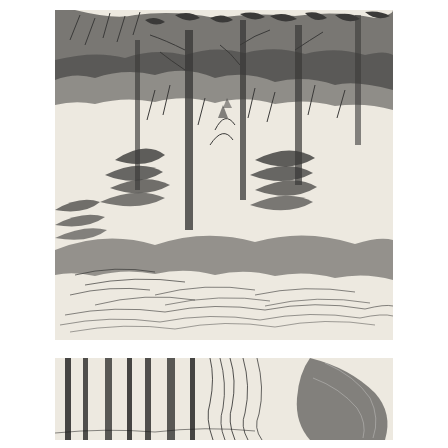[Figure (illustration): A detailed charcoal or pencil sketch of a dense forest or garden scene with tall trees, lush foliage, ferns and undergrowth. The drawing is done in expressive, loose strokes showing layered vegetation from ground cover up through tree canopies. The image has rounded/oval framing at the bottom corners. Black marks on white/cream paper.]
[Figure (illustration): A partial cropped detail of a second charcoal/pencil sketch showing vertical strokes suggesting tree trunks or tall grass, and on the right a more rounded organic form. Black marks on white paper. This appears to be a detail or separate smaller study.]